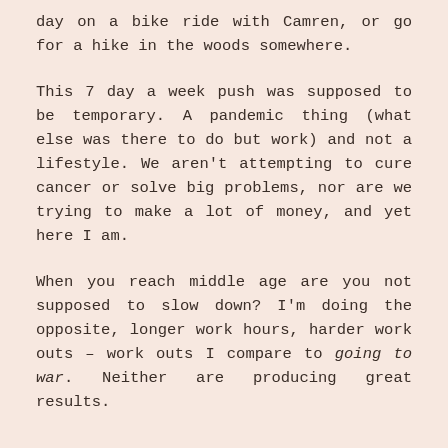day on a bike ride with Camren, or go for a hike in the woods somewhere.
This 7 day a week push was supposed to be temporary. A pandemic thing (what else was there to do but work) and not a lifestyle. We aren't attempting to cure cancer or solve big problems, nor are we trying to make a lot of money, and yet here I am.
When you reach middle age are you not supposed to slow down? I'm doing the opposite, longer work hours, harder work outs – work outs I compare to going to war. Neither are producing great results.